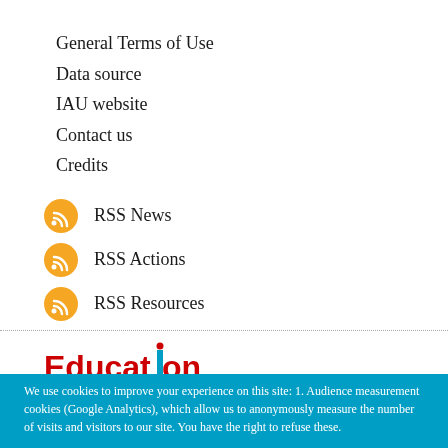General Terms of Use
Data source
IAU website
Contact us
Credits
RSS News
RSS Actions
RSS Resources
[Figure (logo): Education 2030 logo with colorful SDG wheel icon]
We use cookies to improve your experience on this site: 1. Audience measurement cookies (Google Analytics), which allow us to anonymously measure the number of visits and visitors to our site. You have the right to refuse these.